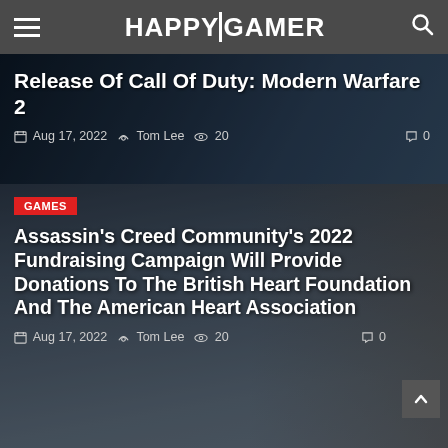HAPPYGAMER
Release Of Call Of Duty: Modern Warfare 2
Aug 17, 2022  Tom Lee  20  0
[Figure (photo): Dark screenshot from Call of Duty: Modern Warfare 2 used as article card background]
GAMES
Assassin's Creed Community's 2022 Fundraising Campaign Will Provide Donations To The British Heart Foundation And The American Heart Association
Aug 17, 2022  Tom Lee  20  0
[Figure (photo): Screenshot of an Assassin's Creed character in a hooded cloak used as article card background]